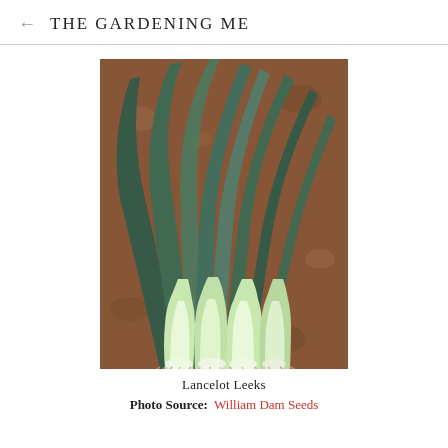← THE GARDENING ME
[Figure (photo): Four Lancelot leeks laid on reddish-brown soil, showing long dark blue-green flat leaves fanning out at the top, pale green to white stems, and tangled fibrous roots at the bottom.]
Lancelot Leeks
Photo Source:  William Dam Seeds